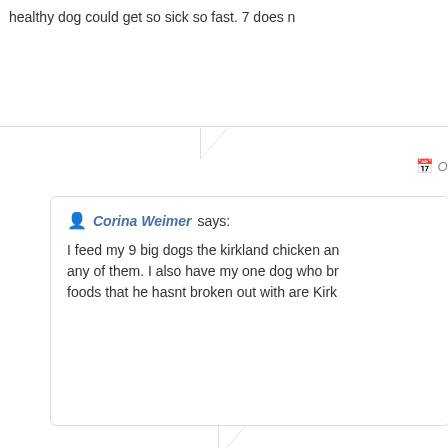healthy dog could get so sick so fast. 7 does n
Oc
Corina Weimer says:
I feed my 9 big dogs the kirkland chicken an any of them. I also have my one dog who br foods that he hasnt broken out with are Kirk
Octo
Lynn says:
I do feed the Kirkland Signature Lamb and Ri But when I tried the Chicken and Rice Formu currently feeding Pedigree Original because